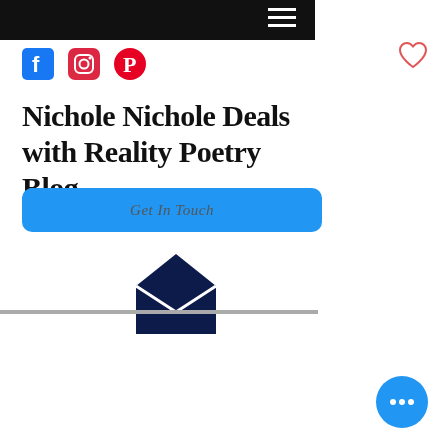[Figure (screenshot): Black top navigation bar with hamburger menu icon on the right]
[Figure (illustration): Heart/favorite icon outline in red/coral color on the top right]
[Figure (logo): Social media icons: Facebook (blue square F), Instagram (camera gradient), Pinterest (red P circle)]
Nichole Nichole Deals with Reality Poetry Blog
[Figure (illustration): Blue rounded rectangle button labeled 'Get In Touch' in italic serif gray text]
[Figure (illustration): Dark navy envelope icon (mail/message symbol)]
[Figure (illustration): Blue circular FAB button with three white dots (ellipsis)]